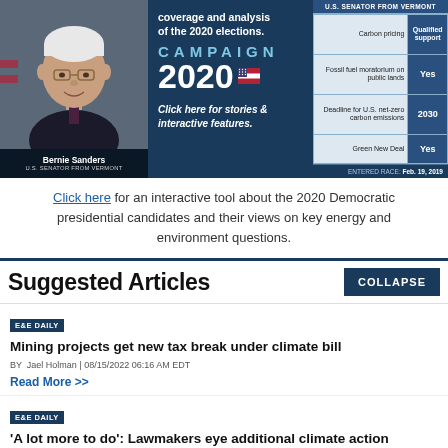[Figure (infographic): Campaign 2020 banner featuring Bernie Sanders, U.S. Senator from Vermont, with policy positions table (Carbon pricing: Qualified support; Fossil fuel moratorium on public lands: Yes; Deadline for U.S. net-zero carbon emissions: 2030; Green New Deal: Yes) and entered race date Feb. 19, 2019.]
Click here for an interactive tool about the 2020 Democratic presidential candidates and their views on key energy and environment questions.
Suggested Articles
E&E DAILY — Mining projects get new tax break under climate bill — BY Jael Holman | 08/15/2022 06:16 AM EDT — Read More >>
E&E DAILY — 'A lot more to do': Lawmakers eye additional climate action